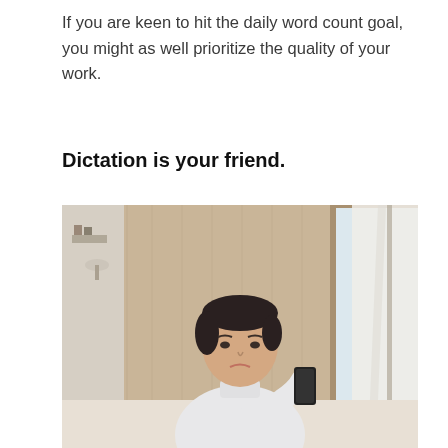If you are keen to hit the daily word count goal, you might as well prioritize the quality of your work.
Dictation is your friend.
[Figure (photo): A young dark-haired woman in a white turtleneck sweater holds a smartphone near her mouth as if dictating, sitting near a large window with white curtains in a room with wood-paneled walls and shelving in the background.]